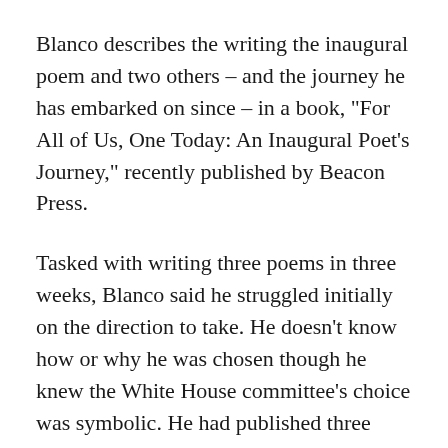Blanco describes the writing the inaugural poem and two others – and the journey he has embarked on since – in a book, "For All of Us, One Today: An Inaugural Poet's Journey," recently published by Beacon Press.
Tasked with writing three poems in three weeks, Blanco said he struggled initially on the direction to take. He doesn't know how or why he was chosen though he knew the White House committee's choice was symbolic. He had published three critically acclaimed poetry books but was only modestly known at the time.
He read the work of other inaugural poets such as Maya Angelou and Robert Frost and of others, like Elizabeth Bishop and Pablo Neruda. But by the third